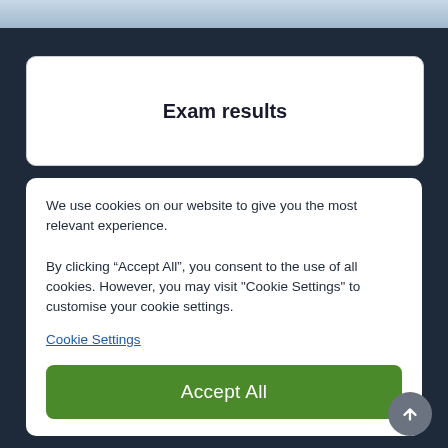[Figure (photo): Top strip showing partial photo of people, likely students]
Exam results
We use cookies on our website to give you the most relevant experience.

By clicking “Accept All”, you consent to the use of all cookies. However, you may visit "Cookie Settings" to customise your cookie settings.
Cookie Settings
Accept All